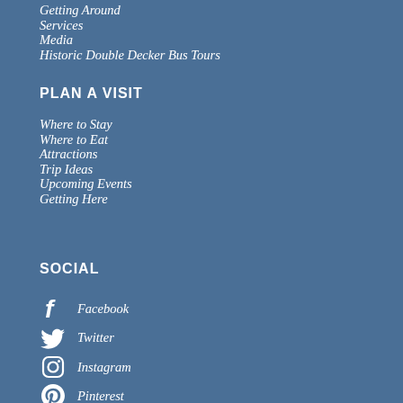Getting Around
Services
Media
Historic Double Decker Bus Tours
PLAN A VISIT
Where to Stay
Where to Eat
Attractions
Trip Ideas
Upcoming Events
Getting Here
SOCIAL
Facebook
Twitter
Instagram
Pinterest
#VisitOxfordMS